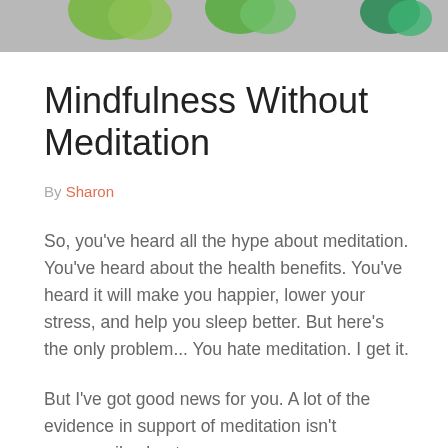[Figure (illustration): Decorative header image with green heart/leaf shapes on a gray background]
Mindfulness Without Meditation
By Sharon
So, you've heard all the hype about meditation. You've heard about the health benefits. You've heard it will make you happier, lower your stress, and help you sleep better. But here's the only problem... You hate meditation. I get it.
But I've got good news for you. A lot of the evidence in support of meditation isn't necessarily about meditation. It's about mindfulness. So, that's the